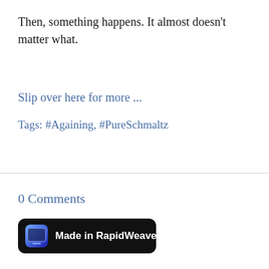Then, something happens. It almost doesn't matter what.
Slip over here for more ...
Tags: #Againing, #PureSchmaltz
0 Comments
[Figure (logo): Made in RapidWeaver badge — black rounded rectangle with RapidWeaver app icon and white text 'Made in RapidWeaver']